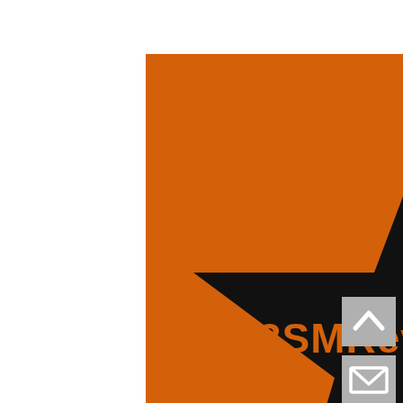[Figure (logo): 3SMReviews.com logo: orange square background with a large black five-pointed star in the center. The text '3SMReviews.com' is written in orange inside the star.]
[Figure (illustration): Two small grey UI buttons on the right side: an upward chevron/arrow button and an envelope/mail button.]